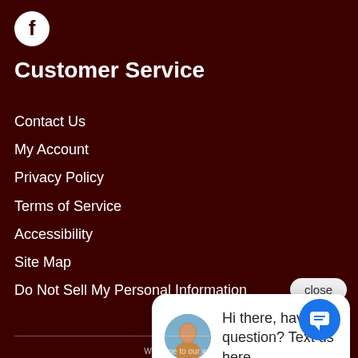[Figure (logo): Facebook logo icon (white circle with F) on dark red background]
Customer Service
Contact Us
My Account
Privacy Policy
Terms of Service
Accessibility
Site Map
Do Not Sell My Personal Information
close
Hi there, have a question? Text us here.
Welcome to our w... on our website (ou... company our size... our website. Ho... Please call our disability services phone line at (718) 591-6557 during regular business hours and one of our kind and friendly personal s... will help you navigate through our website, help conduct adva... searches, help you choose the item you are looking for with t... specifications you are seeking, read you the specifications of any item and consult with you about the products themselves. There is no charge for the